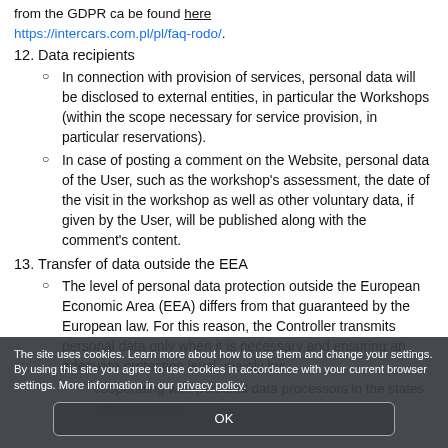from the GDPR ca be found here https://intercars.com.pl/pl/faq-rodo/.
12. Data recipients
In connection with provision of services, personal data will be disclosed to external entities, in particular the Workshops (within the scope necessary for service provision, in particular reservations).
In case of posting a comment on the Website, personal data of the User, such as the workshop's assessment, the date of the visit in the workshop as well as other voluntary data, if given by the User, will be published along with the comment's content.
13. Transfer of data outside the EEA
The level of personal data protection outside the European Economic Area (EEA) differs from that guaranteed by the European law. For this reason, the Controller transmits personal data only when it is necessary and ensuring an adequate protection level, mainly by:
cooperating with personal data processors in the states with respect to
The site uses cookies. Learn more about how to use them and change your settings. By using this site you agree to use cookies in accordance with your current browser settings. More information in our privacy policy.
OK